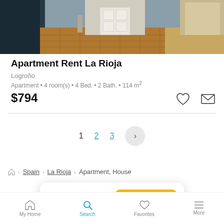[Figure (photo): Interior photo of apartment showing parquet floor, white doors, and hallway]
Apartment Rent La Rioja
Logroño
Apartment • 4 room(s) • 4 Bed. • 2 Bath. • 114 m²
$794
1  2  3  >
Home > Spain > La Rioja > Apartment, House
Want to get updates? Save search
My Home  Search  Favorites  More